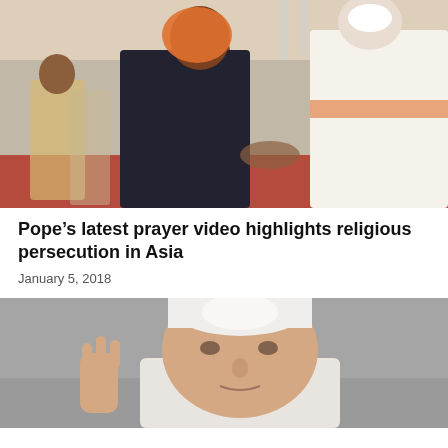[Figure (photo): Pope Francis bending forward to greet and hold hands with a woman wearing an orange headscarf and dark abaya, with other people standing in the background at an outdoor event with a red carpet and tent canopy.]
Pope’s latest prayer video highlights religious persecution in Asia
January 5, 2018
[Figure (photo): Close-up of an elderly man (Pope Benedict XVI) with white hair raising his right hand, wearing white papal vestments, photographed outdoors with a blurred gray background.]